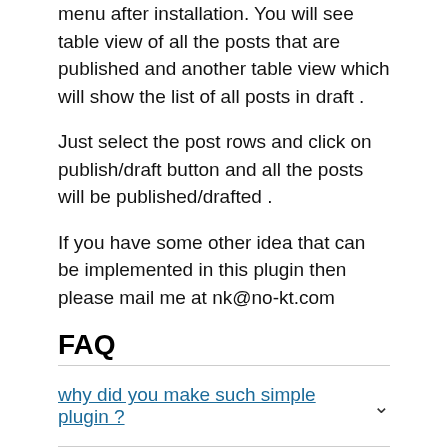menu after installation. You will see table view of all the posts that are published and another table view which will show the list of all posts in draft.
Just select the post rows and click on publish/draft button and all the posts will be published/drafted.
If you have some other idea that can be implemented in this plugin then please mail me at nk@no-kt.com
FAQ
why did you make such simple plugin ?
Bidragsytere og utviklere
“OneClickPublish” er programvare med åpen